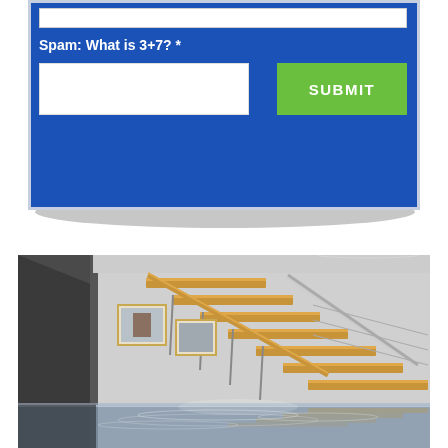[Figure (screenshot): Web form section with blue background showing a spam verification field labeled 'Spam: What is 3+7? *' with a white text input box and a green SUBMIT button]
[Figure (photo): Interior of a flooded building showing modern floating staircase with wooden steps and metal/cable railing, framed pictures on white walls, and water flooding the floor creating reflections of the stairs]